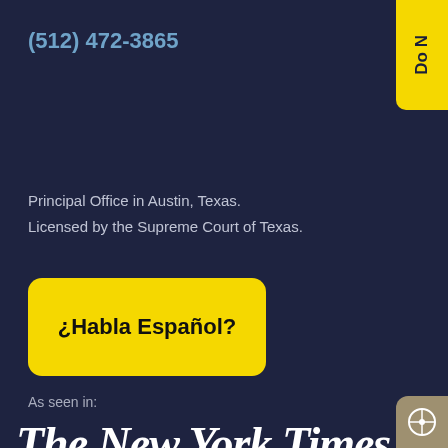(512) 472-3865
[Figure (other): Yellow vertical tab/button in top right corner with text 'Do N' (partially visible)]
Principal Office in Austin, Texas.
Licensed by the Supreme Court of Texas.
[Figure (other): Yellow rounded rectangle button with bold text '¿Habla Español?']
As seen in:
[Figure (logo): The New York Times logo in white blackletter/gothic font]
[Figure (logo): Texas Monthly logo in white serif bold font, partially cut off at bottom]